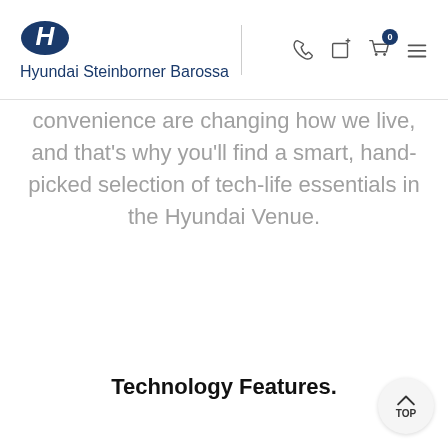Hyundai Steinborner Barossa
convenience are changing how we live, and that's why you'll find a smart, hand-picked selection of tech-life essentials in the Hyundai Venue.
Technology Features.